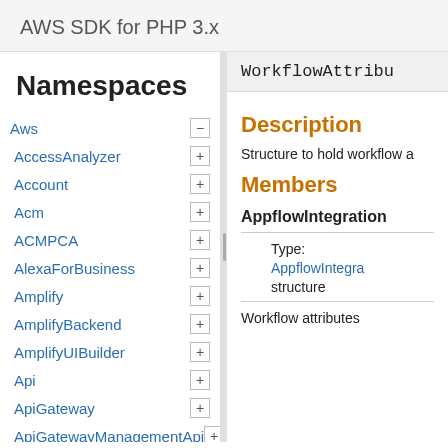AWS SDK for PHP 3.x
Namespaces
Aws
AccessAnalyzer
Account
Acm
ACMPCA
AlexaForBusiness
Amplify
AmplifyBackend
AmplifyUIBuilder
Api
ApiGateway
ApiGatewayManagementApi
WorkflowAttribu
Description
Structure to hold workflow a
Members
AppflowIntegration
Type:
AppflowIntegra
structure
Workflow attributes